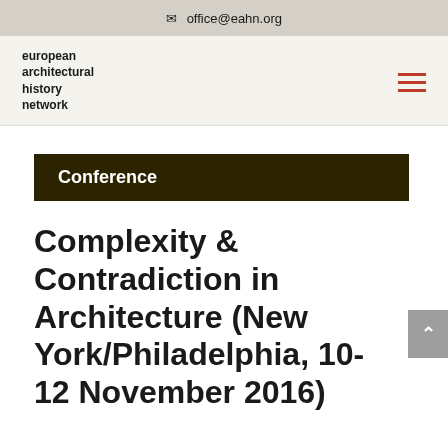✉ office@eahn.org
european architectural history network
Conference
Complexity & Contradiction in Architecture (New York/Philadelphia, 10-12 November 2016)